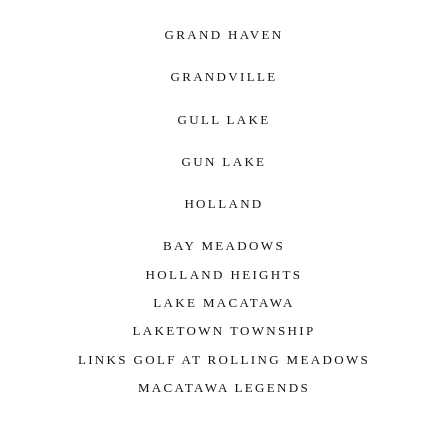GRAND HAVEN
GRANDVILLE
GULL LAKE
GUN LAKE
HOLLAND
BAY MEADOWS
HOLLAND HEIGHTS
LAKE MACATAWA
LAKETOWN TOWNSHIP
LINKS GOLF AT ROLLING MEADOWS
MACATAWA LEGENDS